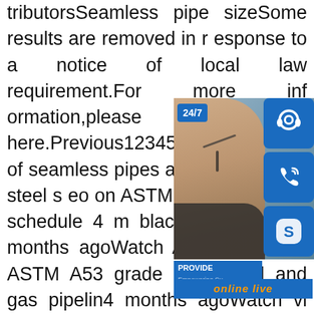tributorsSeamless pipe sizeSome results are removed in response to a notice of local law requirement.For more information,please see here.Previous123456NextVideos of seamless pipes astm a53 carbon steel seo on ASTM A103 A53 GRB schedule 4m black iron seamle4 months agoWatch A106/ API 5L / ASTM A53 grade seamle oil and gas pipelin4 months agoWatch vi7ASTM A53 Grade B Seamless Pipe Su Grad3 viewsFeb 10,2018Vimeorajendra ideos of seamless pipes astm a53 carbo pipeASTM A53 GR.A Carbon Steel Pipes,Carbon Steel Seamless A Carbon Steel Seamless Pipe Supplier,ASTM A53 Pipe,Carbon Steel Pipe,Carbon Steel A53 GR.A Low Pressure Pipes,ASME SA 53 Pipes Exporter.As a renowned supplier,Stolt Alloys FZE offers a wide range of ASTM
[Figure (screenshot): Customer support widget overlay with a woman wearing a headset, 24/7 badge, headset icon button, phone icon button, Skype icon button, PROVIDE Empowering Customers text panel, and online live orange text button]